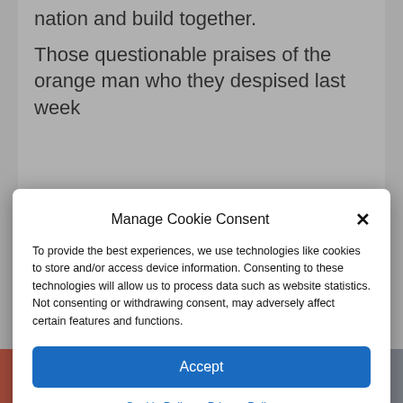nation and build together.
Those questionable praises of the orange man who they despised last week
Manage Cookie Consent
To provide the best experiences, we use technologies like cookies to store and/or access device information. Consenting to these technologies will allow us to process data such as website statistics. Not consenting or withdrawing consent, may adversely affect certain features and functions.
Accept
Cookie Policy  Privacy Policy
Sami White in Clovis, NM – for different